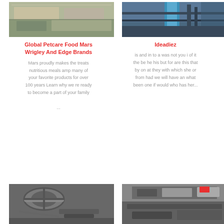[Figure (photo): Aerial or ground view of industrial/agricultural buildings with grey roofs and dirt surroundings]
[Figure (photo): Industrial machinery or factory structure with blue pipes and metal framework]
Global Petcare Food Mars Wrigley And Edge Brands
Ideadiez
Mars proudly makes the treats nutritious meals amp many of your favorite products for over 100 years Learn why we re ready to become a part of your family ...
is and in to a was not you i of it the be he his but for are this that by on at they with which she or from had we will have an what been one if would who has her...
[Figure (photo): Industrial pipes and ductwork, grey metallic, viewed from below/side]
[Figure (photo): Heavy industrial equipment or vehicle undercarriage, dark machinery]